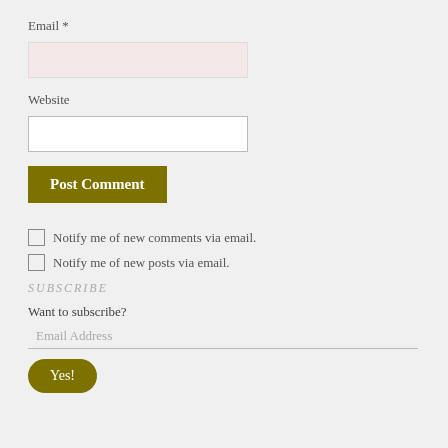Email *
[Figure (other): Pink input field for Email]
Website
[Figure (other): White input field for Website]
[Figure (other): Post Comment button (olive/dark yellow)]
Notify me of new comments via email.
Notify me of new posts via email.
SUBSCRIBE
Want to subscribe?
[Figure (other): Email Address input field with bottom border]
[Figure (other): Yes! button (olive, rounded)]